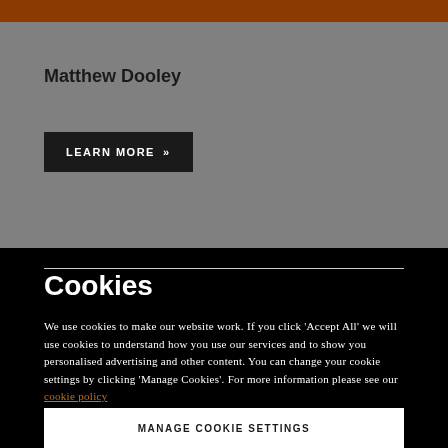Matthew Dooley
LEARN MORE >>
Cookies
We use cookies to make our website work. If you click 'Accept All' we will use cookies to understand how you use our services and to show you personalised advertising and other content. You can change your cookie settings by clicking 'Manage Cookies'. For more information please see our cookie policy
MANAGE COOKIE SETTINGS